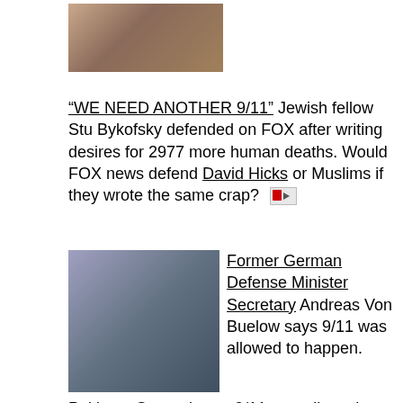[Figure (photo): Photo of a smiling man with glasses in a purple/dark top]
“WE NEED ANOTHER 9/11” Jewish fellow Stu Bykofsky defended on FOX after writing desires for 2977 more human deaths. Would FOX news defend David Hicks or Muslims if they wrote the same crap?
[Figure (photo): Photo of an older man with glasses, Former German Defense Minister Secretary Andreas Von Buelow]
Former German Defense Minister Secretary Andreas Von Buelow says 9/11 was allowed to happen.
Pakistan General says 9/11 was allowed to happen
[Figure (photo): Photo of a bearded man in front of a city skyline background]
This kosher fellow made Al Qaeda videos later used as evidence in the trials of so called Muslim